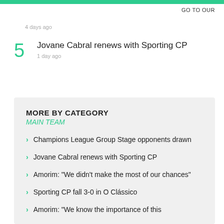GO TO OUR
4 days ago
5  Jovane Cabral renews with Sporting CP
1 day ago
MORE BY CATEGORY
MAIN TEAM
Champions League Group Stage opponents drawn
Jovane Cabral renews with Sporting CP
Amorim: "We didn't make the most of our chances"
Sporting CP fall 3-0 in O Clássico
Amorim: "We know the importance of this